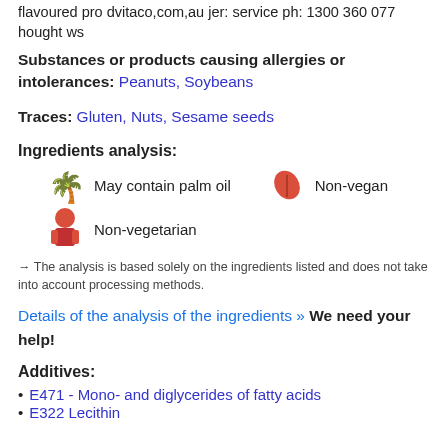flavoured pro dvitaco.com.au jer: service ph: 1300 360 077 hought ws
Substances or products causing allergies or intolerances: Peanuts, Soybeans
Traces: Gluten, Nuts, Sesame seeds
Ingredients analysis:
May contain palm oil
Non-vegan
Non-vegetarian
→ The analysis is based solely on the ingredients listed and does not take into account processing methods.
Details of the analysis of the ingredients » We need your help!
Additives:
E471 - Mono- and diglycerides of fatty acids
E322 Lecithin